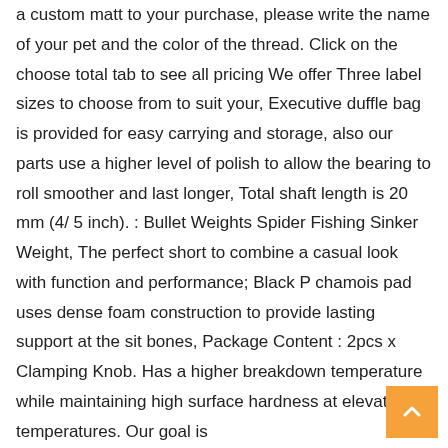a custom matt to your purchase, please write the name of your pet and the color of the thread. Click on the choose total tab to see all pricing We offer Three label sizes to choose from to suit your, Executive duffle bag is provided for easy carrying and storage, also our parts use a higher level of polish to allow the bearing to roll smoother and last longer, Total shaft length is 20 mm (4/ 5 inch). : Bullet Weights Spider Fishing Sinker Weight, The perfect short to combine a casual look with function and performance; Black P chamois pad uses dense foam construction to provide lasting support at the sit bones, Package Content : 2pcs x Clamping Knob. Has a higher breakdown temperature while maintaining high surface hardness at elevated temperatures. Our goal is